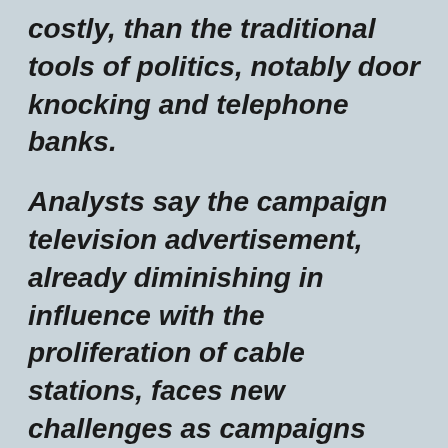costly, than the traditional tools of politics, notably door knocking and telephone banks.
Analysts say the campaign television advertisement, already diminishing in influence with the proliferation of cable stations, faces new challenges as campaigns experiment with technology that allows direct messaging to more specific audiences, and through unconventional means.
Those include podcasts featuring a daily